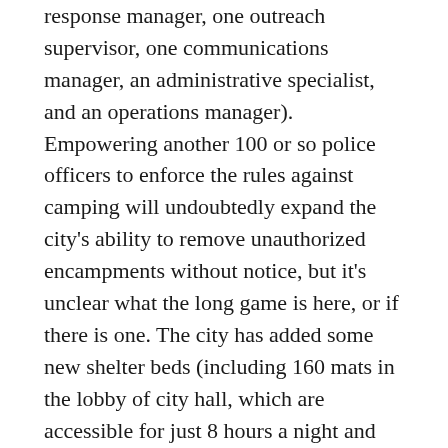response manager, one outreach supervisor, one communications manager, an administrative specialist, and an operations manager). Empowering another 100 or so police officers to enforce the rules against camping will undoubtedly expand the city's ability to remove unauthorized encampments without notice, but it's unclear what the long game is here, or if there is one. The city has added some new shelter beds (including 160 mats in the lobby of city hall, which are accessible for just 8 hours a night and don't include showers, food, or services), but nowhere near enough to meet the need. Last year, according to the latest Point In Time Count of people living unsheltered in King County, the number of people living in tents rose from 1,034 to 1,162 even as the count of people living unsheltered shrunk